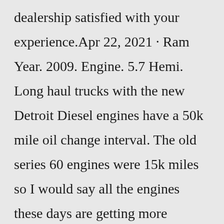dealership satisfied with your experience.Apr 22, 2021 · Ram Year. 2009. Engine. 5.7 Hemi. Long haul trucks with the new Detroit Diesel engines have a 50k mile oil change interval. The old series 60 engines were 15k miles so I would say all the engines these days are getting more efficient along with the oils. So I go with factory recommend intervals but still sometimes I'll change it earlier. What type